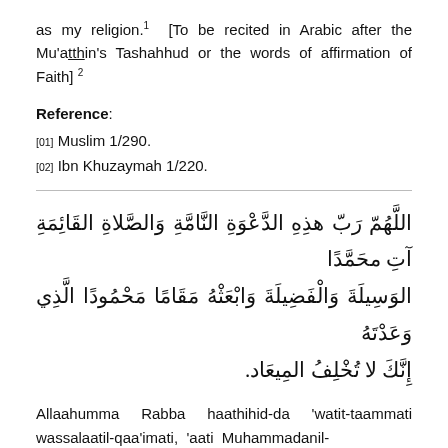as my religion.¹ [To be recited in Arabic after the Mu’aṫṫhīn’s Tashahhud or the words of affirmation of Faith] ²
Reference:
[01] Muslim 1/290.
[02] Ibn Khuzaymah 1/220.
اللَّهُمّ رَبّ هذِهِ الدَّعْوَةِ النَّامَّةِ وَالصَّلاةِ القَائِمَةِ آتِ محَمَّداً الوَسِيلَةَ وَالْفَضِيلَةَ وَابْعَثْهُ مَقَاماً مَحْمُوداً الَّذِي وَعَدْتَهُ إِنَّكَ لا تُخْلِفُ المِيعَاد.
Allaahumma Rabba haathihid-da ‘watit-taammati wassalaatil-qaa’imati, ‘aati Muhammadanil-